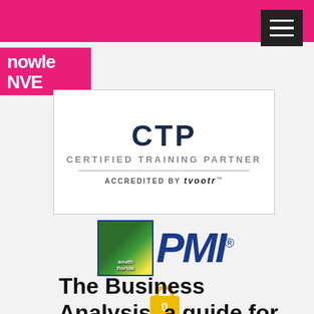[Figure (logo): Pink navigation bar at top of page]
[Figure (logo): Hamburger menu button (three white lines on black background)]
[Figure (logo): Knowledge Hive / KnowleNVE partial logo in pink and white]
[Figure (logo): CTP Certified Training Partner card accredited by tvootr, with PMI South Florida logo below, and shopping bag icon]
The Business Analysis, a guide for